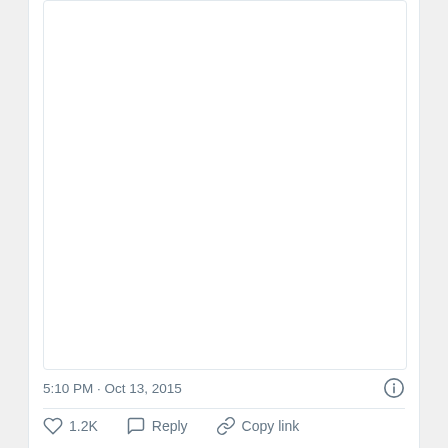[Figure (other): Blank white media embed area inside a tweet card]
5:10 PM · Oct 13, 2015
1.2K  Reply  Copy link